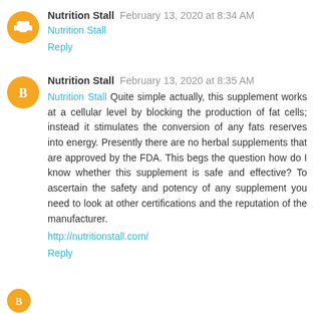Nutrition Stall  February 13, 2020 at 8:34 AM
Nutrition Stall
Reply
Nutrition Stall  February 13, 2020 at 8:35 AM
Nutrition Stall Quite simple actually, this supplement works at a cellular level by blocking the production of fat cells; instead it stimulates the conversion of any fats reserves into energy. Presently there are no herbal supplements that are approved by the FDA. This begs the question how do I know whether this supplement is safe and effective? To ascertain the safety and potency of any supplement you need to look at other certifications and the reputation of the manufacturer.
http://nutritionstall.com/
Reply